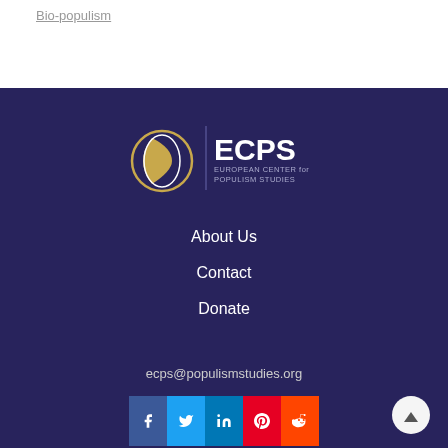Bio-populism
[Figure (logo): ECPS European Center for Populism Studies logo with crescent moon/circle graphic in gold and white on dark navy background]
About Us
Contact
Donate
ecps@populismstudies.org
[Figure (infographic): Social media icon bar with Facebook, Twitter, LinkedIn, Pinterest, Reddit icons]